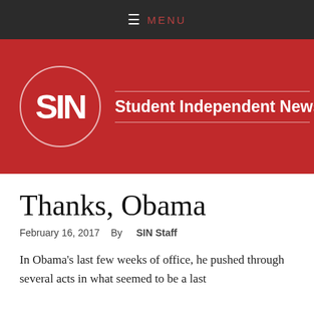≡ MENU
[Figure (logo): Student Independent News logo: red banner with white circle containing 'SIN' text and 'Student Independent News' publication name]
Thanks, Obama
February 16, 2017   By SIN Staff
In Obama's last few weeks of office, he pushed through several acts in what seemed to be a last